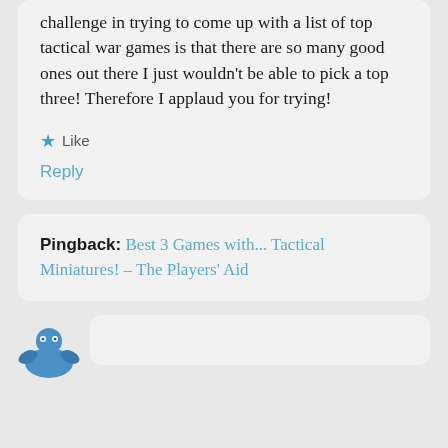challenge in trying to come up with a list of top tactical war games is that there are so many good ones out there I just wouldn't be able to pick a top three! Therefore I applaud you for trying!
★ Like
Reply
Pingback: Best 3 Games with... Tactical Miniatures! – The Players' Aid
[Figure (illustration): Partial blue avatar/icon visible at bottom left]